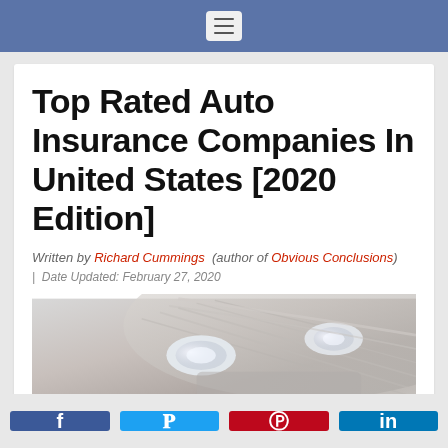Top Rated Auto Insurance Companies In United States [2020 Edition]
Top Rated Auto Insurance Companies In United States [2020 Edition]
Written by Richard Cummings (author of Obvious Conclusions) | Date Updated: February 27, 2020
[Figure (photo): Close-up photo of the front of a car, showing headlights and hood, in silver/grey tones]
f  Twitter  Pinterest  in (social share buttons)